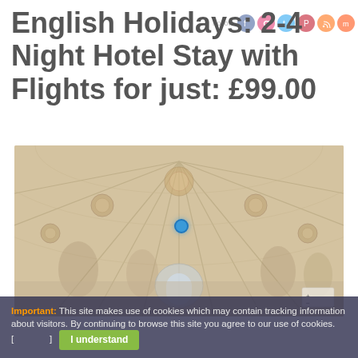English Holidays: 2-4 Night Hotel Stay with Flights for just: £99.00
[Figure (photo): Interior view of a Gothic cathedral ceiling with elaborate painted vaulted arches and decorative medallions, showing intricate medieval artwork in muted warm tones. A blue location pin marker is visible near the top center of the image.]
Important: This site makes use of cookies which may contain tracking information about visitors. By continuing to browse this site you agree to our use of cookies. [ ] I understand